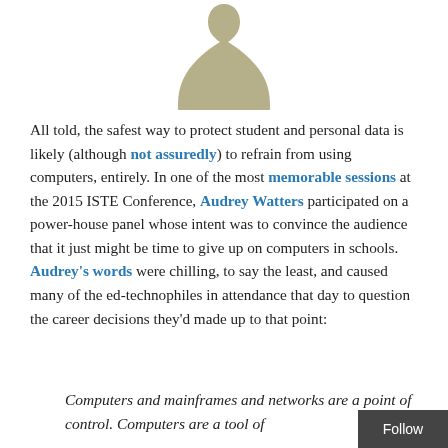[Figure (illustration): A stylized silhouette icon resembling a person or chess piece shape (tall narrow base widening at top), in khaki/olive color, centered at the top of the page]
All told, the safest way to protect student and personal data is likely (although not assuredly) to refrain from using computers, entirely. In one of the most memorable sessions at the 2015 ISTE Conference, Audrey Watters participated on a power-house panel whose intent was to convince the audience that it just might be time to give up on computers in schools. Audrey's words were chilling, to say the least, and caused many of the ed-technophiles in attendance that day to question the career decisions they'd made up to that point:
Computers and mainframes and networks are a point of control. Computers are a tool of